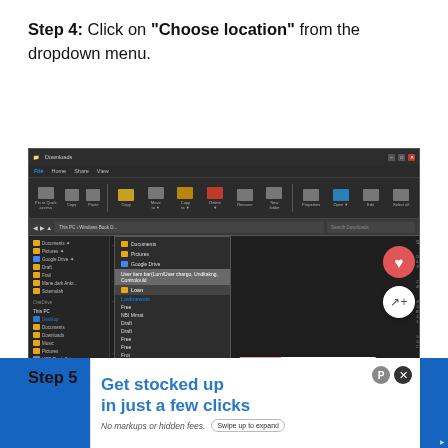Step 4: Click on "Choose location" from the dropdown menu.
[Figure (screenshot): Windows File Explorer showing a dropdown menu with options including Documents, Pictures, Google Drive, etc. on a dark theme. Interface shows file listings with various folders and files. Hearts and share button overlays visible on right side. A 'What's Next' panel shows 'How to Save an Image fro...' in the bottom right.]
Step 5: clic